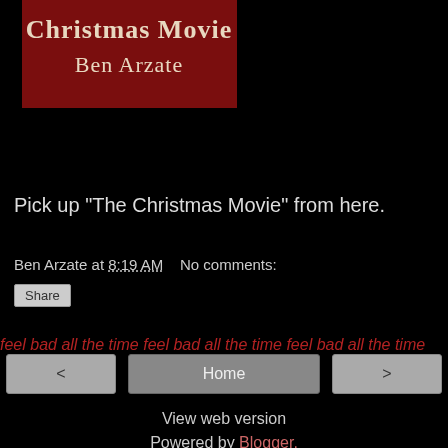[Figure (logo): Dark red banner logo reading 'Christmas Movie Ben Arzate' in gothic/blackletter style text on a dark red background]
Pick up "The Christmas Movie" from here.
Ben Arzate at 8:19 AM   No comments:
Share
feel bad all the time feel bad all the time feel bad all the time
< Home >
View web version
Powered by Blogger.